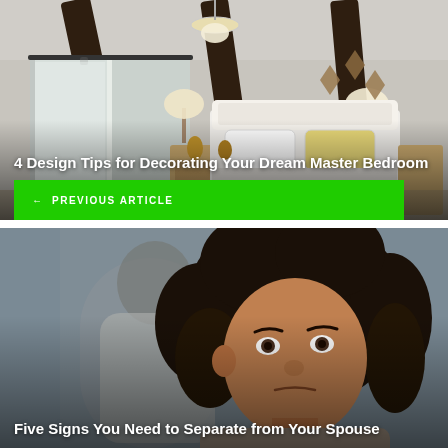[Figure (photo): A stylish master bedroom with barn doors, exposed dark wood beam ceiling, chandelier, and golden accents on a white bed frame with yellow and white pillows]
4 Design Tips for Decorating Your Dream Master Bedroom
← PREVIOUS ARTICLE
[Figure (photo): A woman with curly hair looking distressed in the foreground, with a blurred man standing behind her in the background]
Five Signs You Need to Separate from Your Spouse